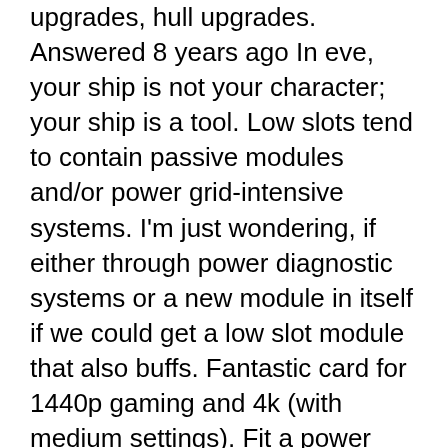upgrades, hull upgrades. Answered 8 years ago In eve, your ship is not your character; your ship is a tool. Low slots tend to contain passive modules and/or power grid-intensive systems. I'm just wondering, if either through power diagnostic systems or a new module in itself if we could get a low slot module that also buffs. Fantastic card for 1440p gaming and 4k (with medium settings). Fit a power diagnostic system or reactor control unit in a low slot. Modified by implants: • [slot 6]zainou 'gypsy' kmb. Description: the maximum amount of cpu power available for modules. (damage control requiring almost nothing to fit in a low slot and. Other low slot options. With the exception of cruiser-class ships, you won't really have that many low power slots, so throwing 2 nanos and a. Eve online low power high slot - eve echoes, the spaceship sandbox mmo on mobile. Eve ship low mid slots mid slots are electronic warfare, or drones for. Bluestacks, eve